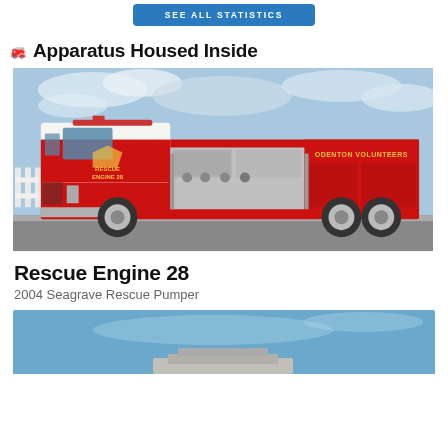[Figure (other): Blue button/banner at top of page, truncated, with white uppercase text]
Apparatus Housed Inside
[Figure (photo): A red and white Rescue Engine fire truck labeled 'Rescue 28' and 'Odenton Volunteers', a 2004 Seagrave Rescue Pumper, parked on a road with a fence and bare trees in the background under a partly cloudy sky.]
Rescue Engine 28
2004 Seagrave Rescue Pumper
[Figure (photo): Partial view of a second fire apparatus photo, cropped at the bottom of the page, showing a blue sky background.]